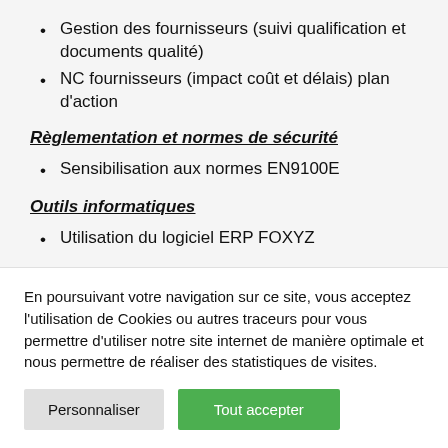Gestion des fournisseurs (suivi qualification et documents qualité)
NC fournisseurs (impact coût et délais) plan d'action
Règlementation et normes de sécurité
Sensibilisation aux normes EN9100E
Outils informatiques
Utilisation du logiciel ERP FOXYZ
Pratique
Exercices sur le logiciel ERP FOXYZ
En poursuivant votre navigation sur ce site, vous acceptez l'utilisation de Cookies ou autres traceurs pour vous permettre d'utiliser notre site internet de manière optimale et nous permettre de réaliser des statistiques de visites.
Personnaliser
Tout accepter